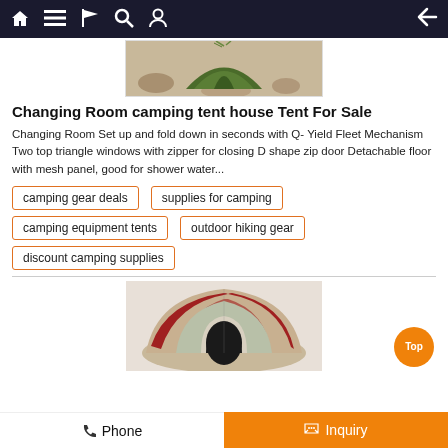Navigation bar with home, menu, flag, search, profile icons and back arrow
[Figure (photo): Green camping tent set up on sandy ground]
Changing Room camping tent house Tent For Sale
Changing Room Set up and fold down in seconds with Q- Yield Fleet Mechanism Two top triangle windows with zipper for closing D shape zip door Detachable floor with mesh panel, good for shower water...
camping gear deals
supplies for camping
camping equipment tents
outdoor hiking gear
discount camping supplies
[Figure (photo): Red and beige dome camping tent viewed from above/front showing entrance opening]
Phone | Inquiry